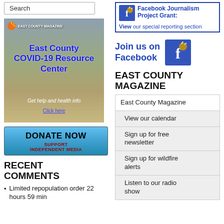[Figure (screenshot): Search input box (text field)]
[Figure (illustration): East County COVID-19 Resource Center banner with mountain landscape background, East County Magazine logo, bold blue text 'East County COVID-19 Resource Center', subtitle 'Get help and health info', and link 'Click here']
[Figure (illustration): Donate Now – Support Independent Media button in blue gradient style]
RECENT COMMENTS
Limited repopulation order 22 hours 59 min
[Figure (screenshot): Facebook Journalism Project Grant box with blue border, Facebook icon, title 'Facebook Journalism Project Grant:', and link 'View our special reporting section']
Join us on Facebook
EAST COUNTY MAGAZINE
| East County Magazine |
| View our calendar |
| Sign up for free newsletter |
| Sign up for wildfire alerts |
| Listen to our radio show |